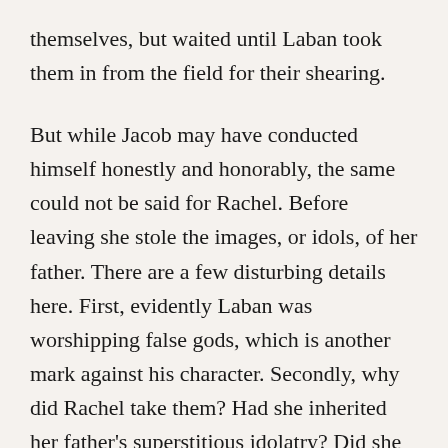themselves, but waited until Laban took them in from the field for their shearing.
But while Jacob may have conducted himself honestly and honorably, the same could not be said for Rachel. Before leaving she stole the images, or idols, of her father. There are a few disturbing details here. First, evidently Laban was worshipping false gods, which is another mark against his character. Secondly, why did Rachel take them? Had she inherited her father's superstitious idolatry? Did she intend to sell them to make up for receiving no dowry? I suppose she might have been trying to remove the temptation from her father,